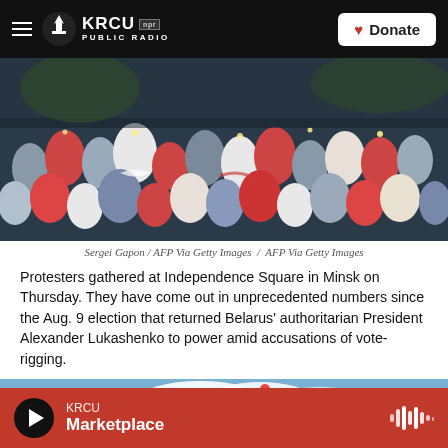KRCU NPR PUBLIC RADIO | Donate
[Figure (photo): Aerial view of a large crowd of protesters at Independence Square in Minsk, many holding candles and phones in the air, some wearing red and white colors]
Sergei Gapon / AFP Via Getty Images  /  AFP Via Getty Images
Protesters gathered at Independence Square in Minsk on Thursday. They have come out in unprecedented numbers since the Aug. 9 election that returned Belarus' authoritarian President Alexander Lukashenko to power amid accusations of vote-rigging.
[Figure (photo): Outdoor scene with trees and a blue sky with clouds, balloons visible]
KRCU Marketplace